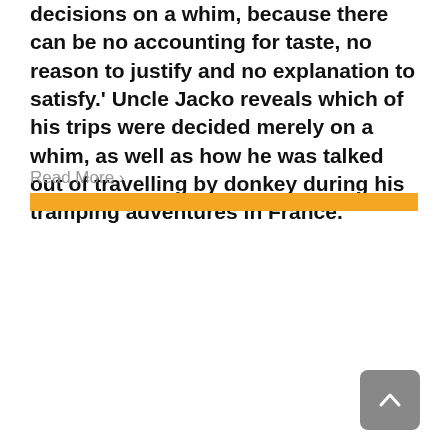decisions on a whim, because there can be no accounting for taste, no reason to justify and no explanation to satisfy.' Uncle Jacko reveals which of his trips were decided merely on a whim, as well as how he was talked out of travelling by donkey during his tramping adventures in France.
Read More ›
[Figure (other): Orange horizontal decorative bar]
[Figure (other): Gray back-to-top button with upward chevron arrow]